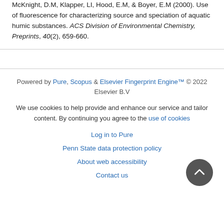McKnight, D.M, Klapper, LI, Hood, E.M, & Boyer, E.M (2000). Use of fluorescence for characterizing source and speciation of aquatic humic substances. ACS Division of Environmental Chemistry, Preprints, 40(2), 659-660.
Powered by Pure, Scopus & Elsevier Fingerprint Engine™ © 2022 Elsevier B.V
We use cookies to help provide and enhance our service and tailor content. By continuing you agree to the use of cookies
Log in to Pure
Penn State data protection policy
About web accessibility
Contact us